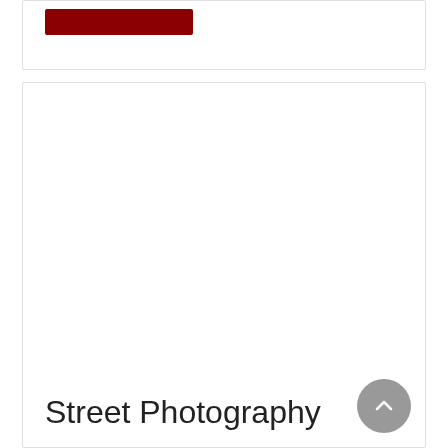[Figure (other): Dark red/maroon rectangular button element at top of first card]
[Figure (photo): Large empty white image placeholder area in main card]
Street Photography
Street Photography is the type of photography where your picture show how you see the world.